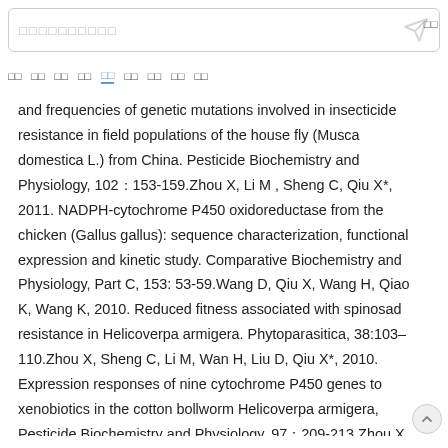and frequencies of genetic mutations involved in insecticide resistance in field populations of the house fly (Musca domestica L.) from China. Pesticide Biochemistry and Physiology, 102：153-159.Zhou X, Li M , Sheng C, Qiu X*, 2011. NADPH-cytochrome P450 oxidoreductase from the chicken (Gallus gallus): sequence characterization, functional expression and kinetic study. Comparative Biochemistry and Physiology, Part C, 153: 53-59.Wang D, Qiu X, Wang H, Qiao K, Wang K, 2010. Reduced fitness associated with spinosad resistance in Helicoverpa armigera. Phytoparasitica, 38:103–110.Zhou X, Sheng C, Li M, Wan H, Liu D, Qiu X*, 2010. Expression responses of nine cytochrome P450 genes to xenobiotics in the cotton bollworm Helicoverpa armigera, Pesticide Biochemistry and Physiology, 97：209-213.Zhou X, Ma C, Sheng C, Liu H,